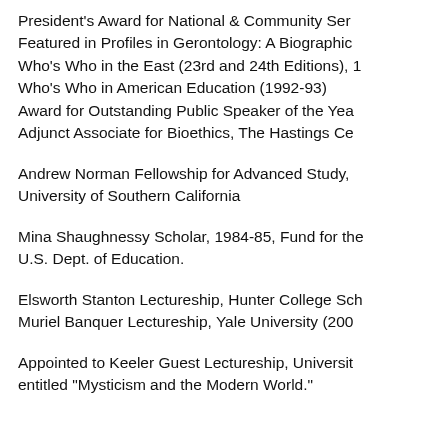President's Award for National & Community Service; Featured in Profiles in Gerontology: A Biographical Dictionary; Who's Who in the East (23rd and 24th Editions); Who's Who in American Education (1992-93); Award for Outstanding Public Speaker of the Year; Adjunct Associate for Bioethics, The Hastings Center
Andrew Norman Fellowship for Advanced Study, University of Southern California
Mina Shaughnessy Scholar, 1984-85, Fund for the Improvement of Postsecondary Education, U.S. Dept. of Education.
Elsworth Stanton Lectureship, Hunter College School of Social Work; Muriel Banquer Lectureship, Yale University (2001)
Appointed to Keeler Guest Lectureship, University of Notre Dame, entitled "Mysticism and the Modern World."